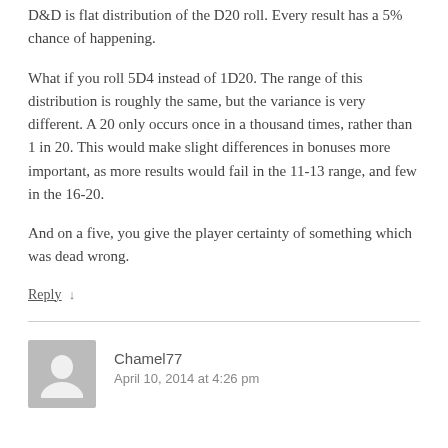D&D is flat distribution of the D20 roll. Every result has a 5% chance of happening.
What if you roll 5D4 instead of 1D20. The range of this distribution is roughly the same, but the variance is very different. A 20 only occurs once in a thousand times, rather than 1 in 20. This would make slight differences in bonuses more important, as more results would fail in the 11-13 range, and few in the 16-20.
And on a five, you give the player certainty of something which was dead wrong.
Reply ↓
Chamel77
April 10, 2014 at 4:26 pm